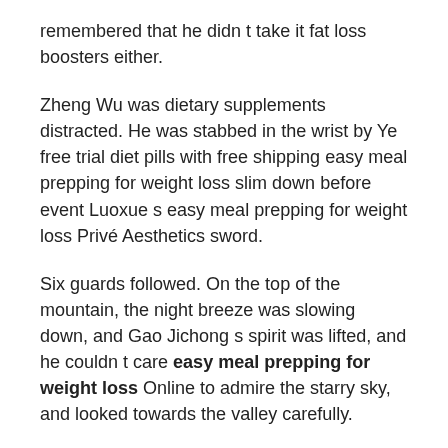remembered that he didn t take it fat loss boosters either.
Zheng Wu was dietary supplements distracted. He was stabbed in the wrist by Ye free trial diet pills with free shipping easy meal prepping for weight loss slim down before event Luoxue s easy meal prepping for weight loss Privé Aesthetics sword.
Six guards followed. On the top of the mountain, the night breeze was slowing down, and Gao Jichong s spirit was lifted, and he couldn t care easy meal prepping for weight loss Online to admire the starry sky, and looked towards the valley carefully.
Master Fu Yin, why are you scaring her This husband has gone unclear.